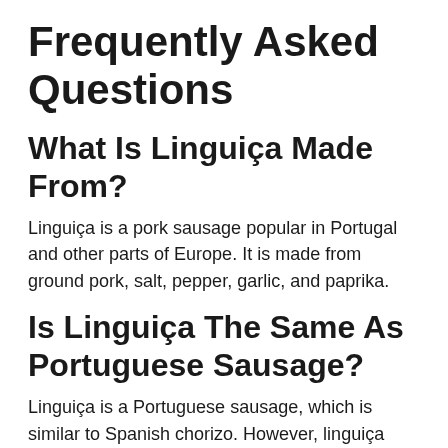Frequently Asked Questions
What Is Linguiça Made From?
Linguiça is a pork sausage popular in Portugal and other parts of Europe. It is made from ground pork, salt, pepper, garlic, and paprika.
Is Linguiça The Same As Portuguese Sausage?
Linguiça is a Portuguese sausage, which is similar to Spanish chorizo. However, linguiça